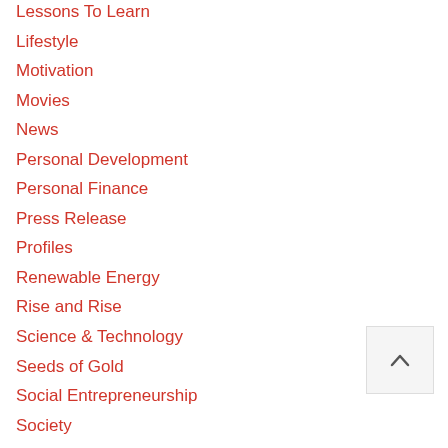Lessons To Learn
Lifestyle
Motivation
Movies
News
Personal Development
Personal Finance
Press Release
Profiles
Renewable Energy
Rise and Rise
Science & Technology
Seeds of Gold
Social Entrepreneurship
Society